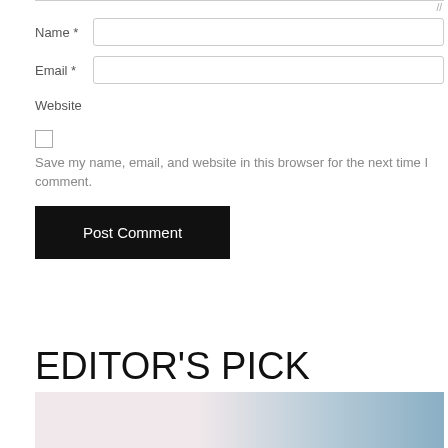Name *
Email *
Website
Save my name, email, and website in this browser for the next time I comment.
Post Comment
EDITOR'S PICK
[Figure (photo): Partial image strip at bottom, showing a light pinkish background on the left and blue-toned figure on the right]